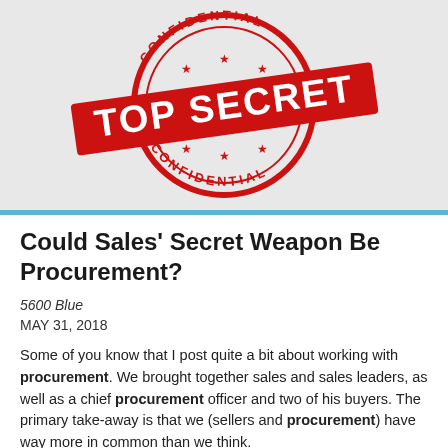[Figure (illustration): Red 'TOP SECRET CONFIDENTIAL' stamp graphic on light gray/white background. A large red banner reads 'TOP SECRET' in bold white text diagonally, surrounded by a circular stamp reading 'CONFIDENTIAL' at the top and 'CONFIDENTIAL' at the bottom with stars.]
Could Sales' Secret Weapon Be Procurement?
5600 Blue
MAY 31, 2018
Some of you know that I post quite a bit about working with procurement. We brought together sales and sales leaders, as well as a chief procurement officer and two of his buyers. The primary take-away is that we (sellers and procurement) have way more in common than we think.